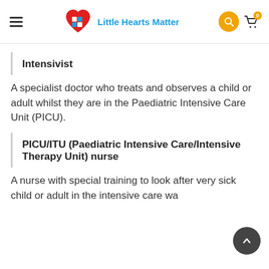Little Hearts Matter
Intensivist
A specialist doctor who treats and observes a child or adult whilst they are in the Paediatric Intensive Care Unit (PICU).
PICU/ITU (Paediatric Intensive Care/Intensive Therapy Unit) nurse
A nurse with special training to look after very sick child or adult in the intensive care wa...